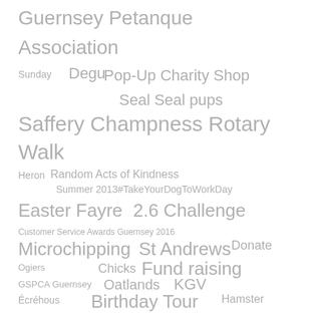[Figure (infographic): Tag cloud with various words and phrases in different sizes, all in grey color on white background. Tags include: Guernsey Petanque Association, Sunday, Degu, Pop-Up Charity Shop, Seal Seal pups, Saffery Champness Rotary Walk, Heron, Random Acts of Kindness, Summer 2013, #TakeYourDogToWorkDay, Easter Fayre, 2.6 Challenge, Customer Service Awards Guernsey 2016, Microchipping, St Andrews, Donate, Ogiers, Chicks, Fund raising, GSPCA Guernsey, Oatlands, KGV, Écréhous, Birthday Tour, Hamster, Superhero Day]